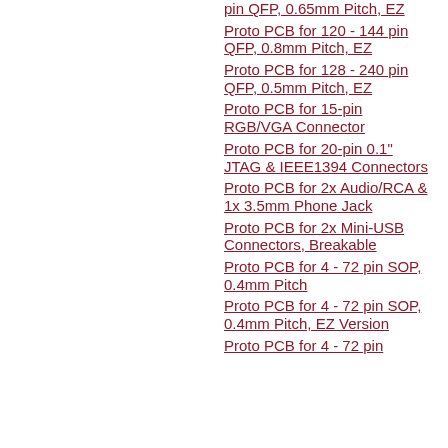pin QFP, 0.65mm Pitch, EZ
Proto PCB for 120 - 144 pin QFP, 0.8mm Pitch, EZ
Proto PCB for 128 - 240 pin QFP, 0.5mm Pitch, EZ
Proto PCB for 15-pin RGB/VGA Connector
Proto PCB for 20-pin 0.1" JTAG & IEEE1394 Connectors
Proto PCB for 2x Audio/RCA & 1x 3.5mm Phone Jack
Proto PCB for 2x Mini-USB Connectors, Breakable
Proto PCB for 4 - 72 pin SOP, 0.4mm Pitch
Proto PCB for 4 - 72 pin SOP, 0.4mm Pitch, EZ Version
Proto PCB for 4 - 72 pin